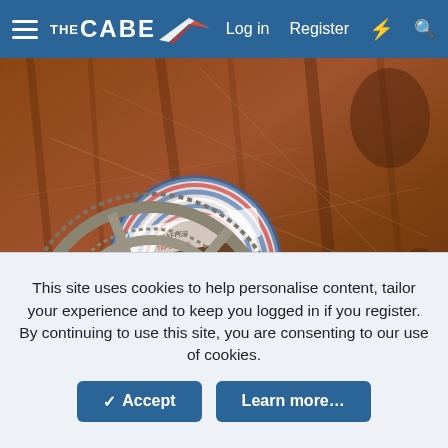THE CABE — Log in  Register
[Figure (photo): Bicycle crankset and chainrings alongside a roll of tape, lying on a scratched wooden floor]
This site uses cookies to help personalise content, tailor your experience and to keep you logged in if you register.
By continuing to use this site, you are consenting to our use of cookies.
Accept   Learn more...